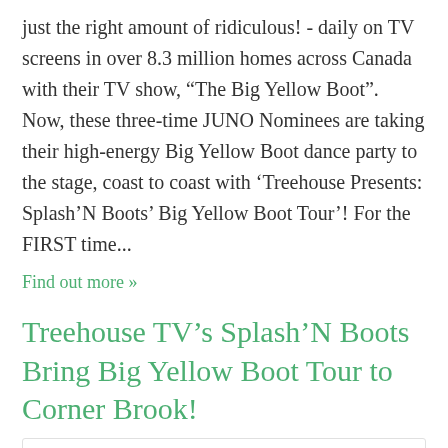just the right amount of ridiculous! - daily on TV screens in over 8.3 million homes across Canada with their TV show, “The Big Yellow Boot”. Now, these three-time JUNO Nominees are taking their high-energy Big Yellow Boot dance party to the stage, coast to coast with 'Treehouse Presents: Splash'N Boots' Big Yellow Boot Tour'! For the FIRST time...
Find out more »
Treehouse TV’s Splash’N Boots Bring Big Yellow Boot Tour to Corner Brook!
November 3, 2016 @ 6:00 pm - 7:00 pm